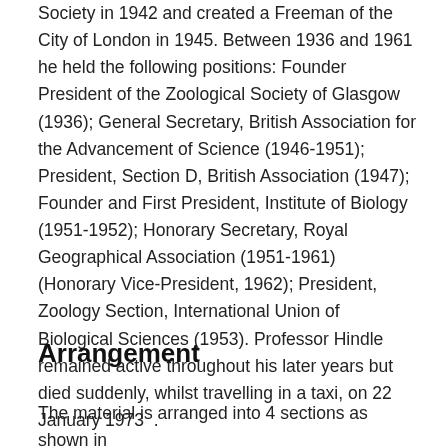Society in 1942 and created a Freeman of the City of London in 1945. Between 1936 and 1961 he held the following positions: Founder President of the Zoological Society of Glasgow (1936); General Secretary, British Association for the Advancement of Science (1946-1951); President, Section D, British Association (1947); Founder and First President, Institute of Biology (1951-1952); Honorary Secretary, Royal Geographical Association (1951-1961) (Honorary Vice-President, 1962); President, Zoology Section, International Union of Biological Sciences (1953). Professor Hindle remained active throughout his later years but died suddenly, whilst travelling in a taxi, on 22 January 1973  .
Arrangement
The material is arranged into 4 sections as shown in